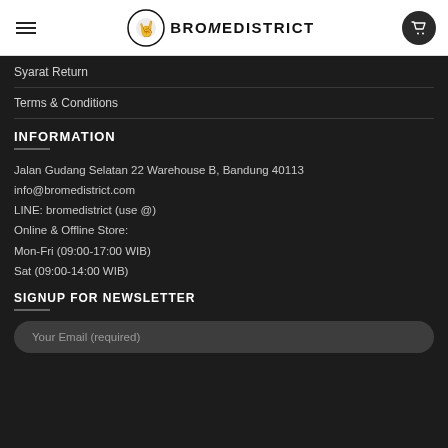BROMEDISTRICT
Syarat Return
Terms & Conditions
INFORMATION
Jalan Gudang Selatan 22 Warehouse B, Bandung 40113
info@bromedistrict.com
LINE: bromedistrict (use @)
Online & Offline Store:
Mon-Fri (09:00-17:00 WIB)
Sat (09:00-14:00 WIB)
SIGNUP FOR NEWSLETTER
Your Email (required)